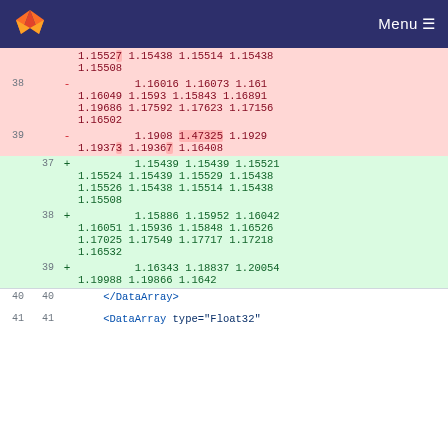GitLab Menu
| old_line | new_line | sign | content |
| --- | --- | --- | --- |
|  |  |  | 1.15527 1.15438 1.15514 1.15438 1.15508 |
| 38 |  | - | 1.16016 1.16073 1.161 1.16049 1.1593 1.15843 1.16891 1.19686 1.17592 1.17623 1.17156 1.16502 |
| 39 |  | - | 1.1908 1.47325 1.1929 1.19373 1.19367 1.16408 |
|  | 37 | + | 1.15439 1.15439 1.15521 1.15524 1.15439 1.15529 1.15438 1.15526 1.15438 1.15514 1.15438 1.15508 |
|  | 38 | + | 1.15886 1.15952 1.16042 1.16051 1.15936 1.15848 1.16526 1.17025 1.17549 1.17717 1.17218 1.16532 |
|  | 39 | + | 1.16343 1.18837 1.20054 1.19988 1.19866 1.1642 |
| 40 | 40 |  | </DataArray> |
| 41 | 41 |  | <DataArray type="Float32" |